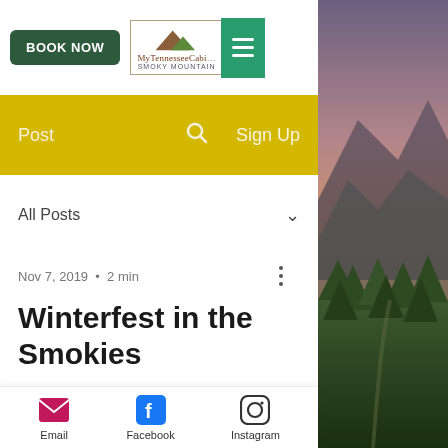[Figure (screenshot): Website header with BOOK NOW button (dark green), MyTennesseeCabins Smoky Mountain logo, and green hamburger menu icon]
[Figure (screenshot): Yellow navigation bar with Post, search icon, and Sign Up links]
All Posts ∨
Nov 7, 2019 • 2 min
Winterfest in the Smokies
If you have never visited the Smoky Mountains during Christmas time, you
[Figure (photo): Mountain landscape at sunset/dusk showing Smoky Mountains with trees and valley]
[Figure (screenshot): Bottom share bar with Email (envelope icon), Facebook (f icon), and Instagram (camera icon) sharing options]